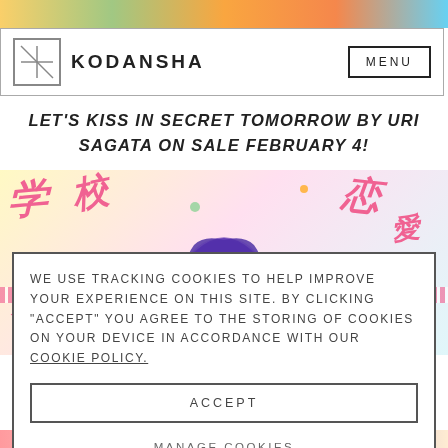[Figure (screenshot): Top decorative banner with colorful manga illustration strip]
KODANSHA  MENU
LET'S KISS IN SECRET TOMORROW BY URI SAGATA ON SALE FEBRUARY 4!
[Figure (illustration): Manga illustration with pink Japanese characters and purple-haired character with colorful background]
WE USE TRACKING COOKIES TO HELP IMPROVE YOUR EXPERIENCE ON THIS SITE. BY CLICKING "ACCEPT" YOU AGREE TO THE STORING OF COOKIES ON YOUR DEVICE IN ACCORDANCE WITH OUR COOKIE POLICY.
ACCEPT
MANAGE COOKIES